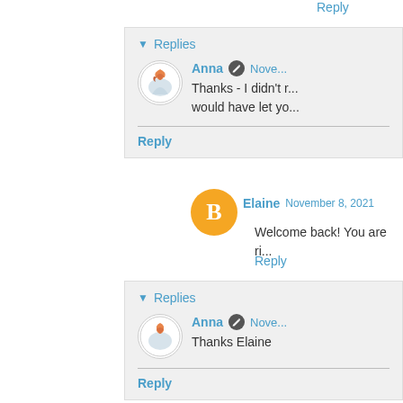Reply
Replies
Anna  November ...
Thanks - I didn't... would have let yo...
Reply
Elaine  November 8, 2021
Welcome back! You are ri...
Reply
Replies
Anna  November ...
Thanks Elaine
Reply